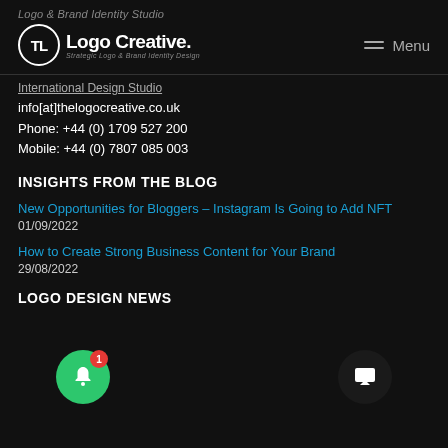Logo & Brand Identity Studio
[Figure (logo): The Logo Creative logo with circular TL monogram, brand name 'LogoCreative.' and tagline 'Strategic Logo & Brand Identity Design']
Menu
International Design Studio
info[at]thelogocreative.co.uk
Phone: +44 (0) 1709 527 200
Mobile: +44 (0) 7807 085 003
INSIGHTS FROM THE BLOG
New Opportunities for Bloggers – Instagram Is Going to Add NFT
01/09/2022
How to Create Strong Business Content for Your Brand
29/08/2022
LOGO DESIGN NEWS